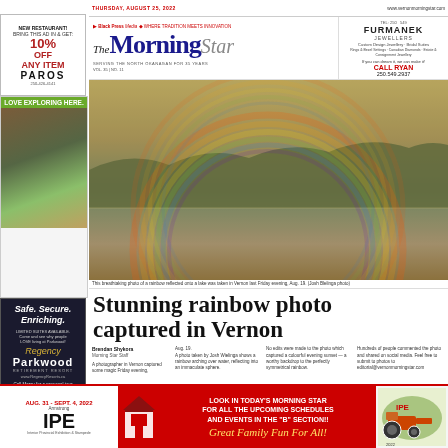[Figure (photo): Advertisement for Paro's restaurant: New Restaurant! Bring this ad in & get 10% OFF any item. Paro's. 250-426-4141]
[Figure (photo): Advertisement: Love Exploring Here. Tourism/nature scenes.]
[Figure (photo): Advertisement for Regency Parkwood Retirement Resort: Safe. Secure. Enriching. Limited suites available. Call Marcy at 250-558-0232, 1800 58th Ave. Vernon.]
THURSDAY, AUGUST 25, 2022 | www.vernonmorningstar.com | Black Press Media — WHERE TRADITION MEETS INNOVATION
[Figure (logo): The Morning Star newspaper logo]
[Figure (photo): Advertisement for Furmanek Jewellers — CALL RYAN 250.549.2937]
[Figure (photo): Stunning photograph of a full circular rainbow reflected on a calm lake, taken in Vernon last Friday evening, Aug. 19. (Josh Blelinga photo)]
This breathtaking photo of a rainbow reflected onto a lake was taken in Vernon last Friday evening, Aug. 19. (Josh Blelinga photo)
Stunning rainbow photo captured in Vernon
Brendan Shykora, Morning Star Staff. A photographer in Vernon captured some magic Friday evening, Aug. 19. A photo taken by Josh Wielinga shows a rainbow arching over water, reflecting into an immaculate sphere. No edits were made to the photo which captured a colourful evening sunset — a worthy backdrop to the perfectly symmetrical rainbow. Hundreds of people commented on the photo and shared on social media. Feel free to submit to photos to editorial@vernonmorningstar.com
[Figure (photo): Advertisement for Armstrong IPE (Interior Provincial Exhibition & Stampede) Aug. 31 - Sept. 4, 2022. Look in today's Morning Star for all the upcoming schedules and events in the 'B' Section!! Great Family Fun For All!]